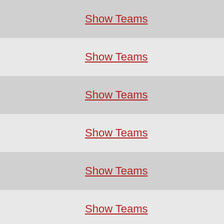|  | Link | Count |
| --- | --- | --- |
|  | Show Teams | 64 |
|  | Show Teams | 48 |
|  | Show Teams | 56 |
|  | Show Teams | 80 |
|  | Show Teams | 64 |
|  | Show Teams | 64 |
|  | Show Teams | 48 |
|  | Show Teams | 64 |
ne: 23 Nike Mideast Qualifier (16-18s)
pe: National Qualifier - Girls
on: USAV
on: Hoosier (HO)
ost: Capitol Sports Center
on: Indianapolis Convention Center
ss: 100 S. Capitol Ave.